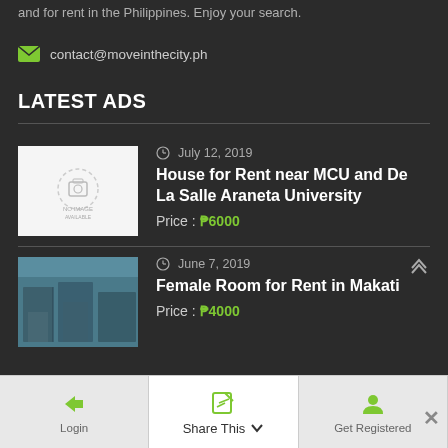and for rent in the Philippines. Enjoy your search.
contact@moveinthecity.ph
LATEST ADS
July 12, 2019 | House for Rent near MCU and De La Salle Araneta University | Price: ₱6000
June 7, 2019 | Female Room for Rent in Makati | Price: ₱4000
Login | Share This | Get Registered